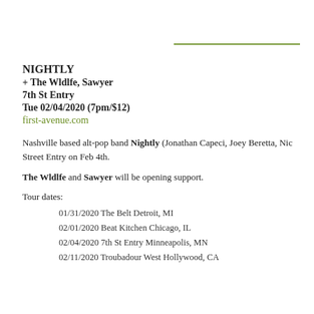NIGHTLY
+ The Wldlfe, Sawyer
7th St Entry
Tue 02/04/2020 (7pm/$12)
first-avenue.com
Nashville based alt-pop band Nightly (Jonathan Capeci, Joey Beretta, Nic Street Entry on Feb 4th.
The Wldlfe and Sawyer will be opening support.
Tour dates:
01/31/2020 The Belt Detroit, MI
02/01/2020 Beat Kitchen Chicago, IL
02/04/2020 7th St Entry Minneapolis, MN
02/11/2020 Troubadour West Hollywood, CA